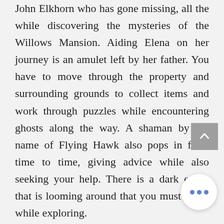John Elkhorn who has gone missing, all the while discovering the mysteries of the Willows Mansion. Aiding Elena on her journey is an amulet left by her father. You have to move through the property and surrounding grounds to collect items and work through puzzles while encountering ghosts along the way. A shaman by the name of Flying Hawk also pops in from time to time, giving advice while also seeking your help. There is a dark entity that is looming around that you must avoid while exploring.

You never find out how you got here or why this is all happening, but the more concerning thing I learned while playing this adventure horror game is that it